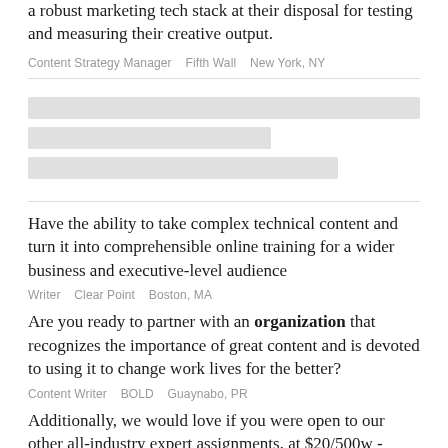a robust marketing tech stack at their disposal for testing and measuring their creative output.
Content Strategy Manager   Fifth Wall   New York, NY
[Figure (other): Three skeleton/placeholder loading bars of varying widths]
Have the ability to take complex technical content and turn it into comprehensible online training for a wider business and executive-level audience
Writer   Clear Point   Boston, MA
Are you ready to partner with an organization that recognizes the importance of great content and is devoted to using it to change work lives for the better?
Content Writer   BOLD   Guaynabo, PR
Additionally, we would love if you were open to our other all-industry expert assignments, at $20/500w - please let us know in your cover letter.
Health, Fitness, And Wellness Content Writer   Express Writers   Michigan,